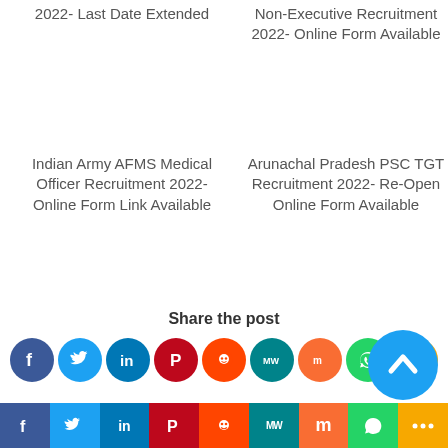2022- Last Date Extended
Non-Executive Recruitment 2022- Online Form Available
Indian Army AFMS Medical Officer Recruitment 2022- Online Form Link Available
Arunachal Pradesh PSC TGT Recruitment 2022- Re-Open Online Form Available
Share the post
[Figure (infographic): Social share icons: Facebook (blue), Twitter (light blue), LinkedIn (dark blue), Pinterest (red), Reddit (orange-red), MeWe (teal), Mix (orange), WhatsApp (green), More (yellow-orange)]
[Figure (infographic): Scroll to top button - light blue circle with upward chevron arrow]
Social share bottom bar: Facebook, Twitter, LinkedIn, Pinterest, Reddit, MeWe, Mix, WhatsApp, More